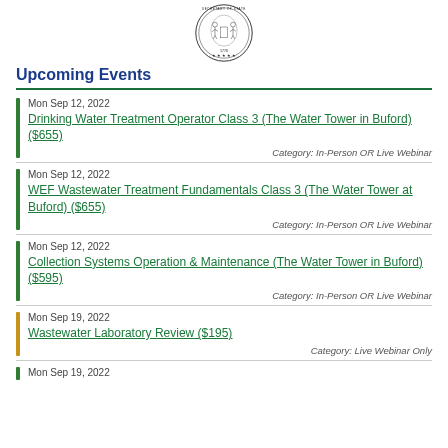[Figure (logo): State seal / government emblem, circular with figures and stars]
Upcoming Events
Mon Sep 12, 2022 — Drinking Water Treatment Operator Class 3 (The Water Tower in Buford) ($655) — Category: In-Person OR Live Webinar
Mon Sep 12, 2022 — WEF Wastewater Treatment Fundamentals Class 3 (The Water Tower at Buford) ($655) — Category: In-Person OR Live Webinar
Mon Sep 12, 2022 — Collection Systems Operation & Maintenance (The Water Tower in Buford) ($595) — Category: In-Person OR Live Webinar
Mon Sep 19, 2022 — Wastewater Laboratory Review ($195) — Category: Live Webinar Only
Mon Sep 19, 2022